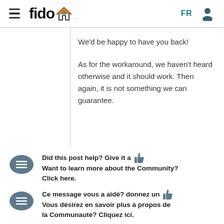fido [logo] FR [user icon]
We'd be happy to have you back!
As for the workaround, we haven't heard otherwise and it should work. Then again, it is not something we can guarantee.
Did this post help? Give it a 👍 Want to learn more about the Community? Click here.
Ce message vous a aidé? donnez un 👍 Vous désirez en savoir plus à propos de la Communauté? Cliquez ici.